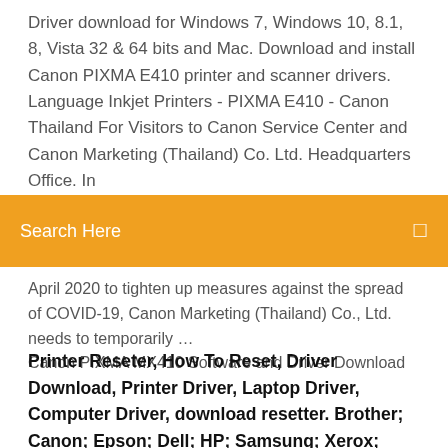Driver download for Windows 7, Windows 10, 8.1, 8, Vista 32 & 64 bits and Mac. Download and install Canon PIXMA E410 printer and scanner drivers. Language Inkjet Printers - PIXMA E410 - Canon Thailand For Visitors to Canon Service Center and Canon Marketing (Thailand) Co. Ltd. Headquarters Office. In
[Figure (screenshot): Orange search bar with 'Search Here' placeholder text and a search icon on the right]
April 2020 to tighten up measures against the spread of COVID-19, Canon Marketing (Thailand) Co., Ltd. needs to temporarily … Canon PIXMA MX410 Software and Driver Download
Printer Reseter, How To Reset, Driver Download, Printer Driver, Laptop Driver, Computer Driver, download resetter. Brother; Canon; Epson; Dell; HP; Samsung; Xerox; Laptop. Acer; Asus; Dell; Toshiba × Cari Cari. Home › Canon. Canon PIXMA E410 Drivers Download Canon PIXMA E410 drivers Download for